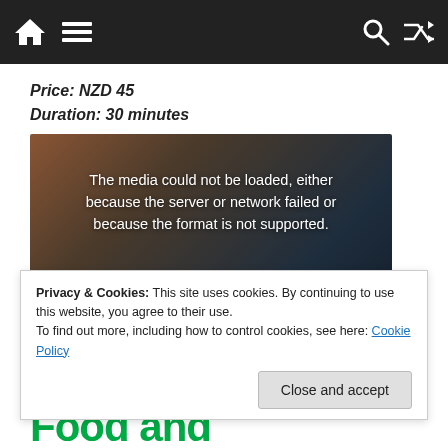Navigation bar with home, menu, search, and shuffle icons
Price: NZD 45
Duration: 30 minutes
[Figure (screenshot): Video player showing error message: 'The media could not be loaded, either because the server or network failed or because the format is not supported.' with an X icon overlay on a dark background]
Privacy & Cookies: This site uses cookies. By continuing to use this website, you agree to their use.
To find out more, including how to control cookies, see here: Cookie Policy
Food and